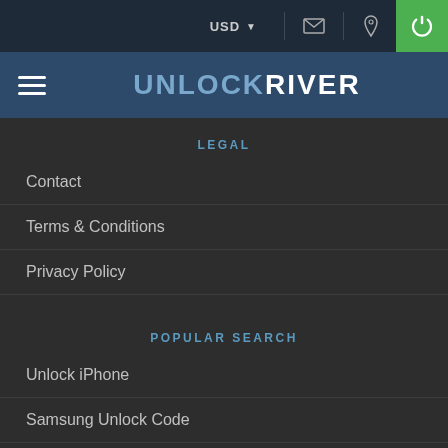USD
UNLOCKRIVER
LEGAL
Contact
Terms & Conditions
Privacy Policy
POPULAR SEARCH
Unlock iPhone
Samsung Unlock Code
HTC Unlocking Solution
LG Unlock